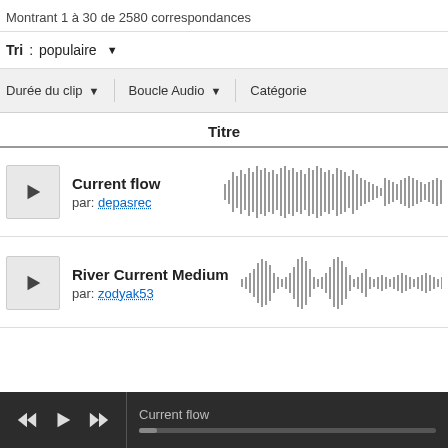Montrant 1 à 30 de 2580 correspondances
Tri: populaire
Durée du clip | Boucle Audio | Catégorie
Titre
Current flow
par: depasrec
[Figure (other): Waveform visualization of Current flow audio track]
River Current Medium
par: zodyak53
[Figure (other): Waveform visualization of River Current Medium audio track]
Current flow (player bar)